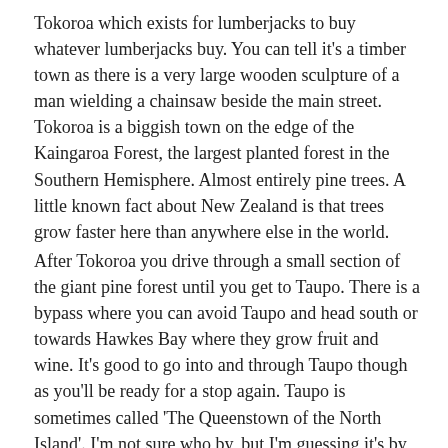Tokoroa which exists for lumberjacks to buy whatever lumberjacks buy. You can tell it's a timber town as there is a very large wooden sculpture of a man wielding a chainsaw beside the main street. Tokoroa is a biggish town on the edge of the Kaingaroa Forest, the largest planted forest in the Southern Hemisphere. Almost entirely pine trees. A little known fact about New Zealand is that trees grow faster here than anywhere else in the world.
After Tokoroa you drive through a small section of the giant pine forest until you get to Taupo. There is a bypass where you can avoid Taupo and head south or towards Hawkes Bay where they grow fruit and wine. It's good to go into and through Taupo though as you'll be ready for a stop again. Taupo is sometimes called 'The Queenstown of the North Island'. I'm not sure who by, but I'm guessing it's by the Taupo tourism board because Taupo is not the Queenstown of the North Island. Not even close. Taupo is a town made up almost entirely of motels along the side of the lake. Lake Taupo is actually a giant volcanic crater. One of the very few super volcanoes in the world. 2 of the 3 most cataclysmic volcanic eruptions in the last 600,000 years were right here in